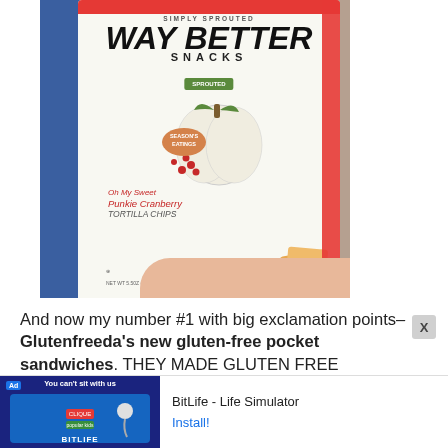[Figure (photo): A hand holding a bag of Way Better Snacks 'Oh My Sweet Punkle Cranberry Tortilla Chips' with a white/cream bag featuring a pumpkin and cranberries, red accent strip, and Season's Eatings badge.]
And now my number #1 with big exclamation points– Glutenfreeda's new gluten-free pocket sandwiches. THEY MADE GLUTEN FREE HOTPOCKETS THAT TASTE AWESOME! I tried the ha
[Figure (screenshot): Advertisement bar: BitLife - Life Simulator app ad with 'You can't sit with us' graphic and Install! button]